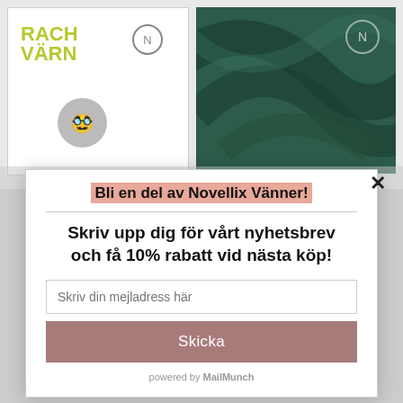[Figure (screenshot): Background showing two book/product cards from a Swedish bookstore website. Left card is white with 'RACH VÄRN' text in yellow-green and a circular logo. Right card has a dark green swirling abstract background with a circular N logo.]
Bli en del av Novellix Vänner!
Skriv upp dig för vårt nyhetsbrev och få 10% rabatt vid nästa köp!
Skriv din mejladress här
Skicka
powered by MailMunch